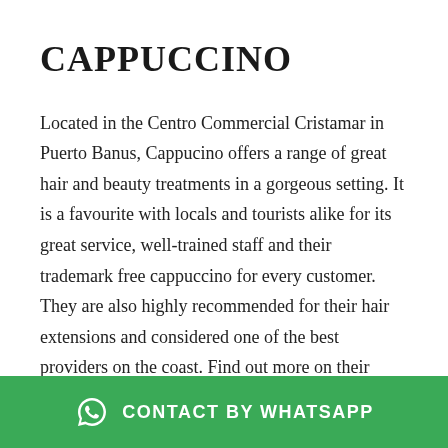CAPPUCCINO
Located in the Centro Commercial Cristamar in Puerto Banus, Cappucino offers a range of great hair and beauty treatments in a gorgeous setting. It is a favourite with locals and tourists alike for its great service, well-trained staff and their trademark free cappuccino for every customer. They are also highly recommended for their hair extensions and considered one of the best providers on the coast. Find out more on their website
CONTACT BY WHATSAPP